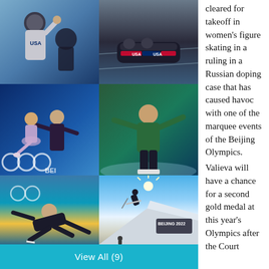[Figure (photo): Two athletes in USA gear celebrating, one with helmet raised]
[Figure (photo): USA bobsled team racing down track]
[Figure (photo): Figure skating pair performing lift at Beijing Olympics]
[Figure (photo): Skater in green hoodie performing a move on ice]
[Figure (photo): Figure skater falling on ice, wearing dark outfit]
[Figure (photo): Aerial skier jumping at Beijing 2022 Olympics venue with Beijing 2022 sign]
View All (9)
cleared for takeoff in women’s figure skating in a ruling in a Russian doping case that has caused havoc with one of the marquee events of the Beijing Olympics.

Valieva will have a chance for a second gold medal at this year’s Olympics after the Court